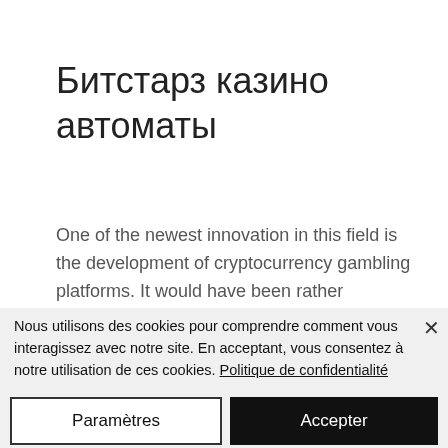Битстарз казино автоматы
One of the newest innovation in this field is the development of cryptocurrency gambling platforms. It would have been rather surprised that someone would have imagined that gambling will not enter in this space. These kinds of platforms usually make bet on happenings. If you win, you get the almighty crypto coin else loses some of
Nous utilisons des cookies pour comprendre comment vous interagissez avec notre site. En acceptant, vous consentez à notre utilisation de ces cookies. Politique de confidentialité
Paramètres
Accepter